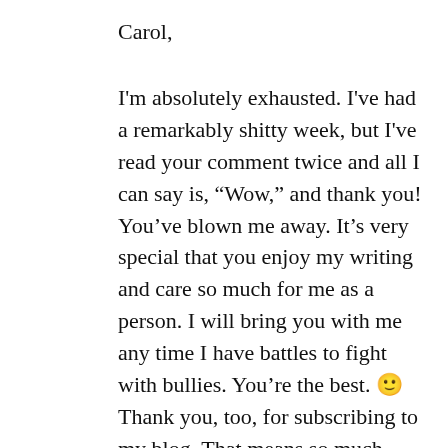Carol,
I'm absolutely exhausted. I've had a remarkably shitty week, but I've read your comment twice and all I can say is, “Wow,” and thank you! You’ve blown me away. It’s very special that you enjoy my writing and care so much for me as a person. I will bring you with me any time I have battles to fight with bullies. You’re the best. 🙂 Thank you, too, for subscribing to my blog. That means so much. Sending love, Cindy